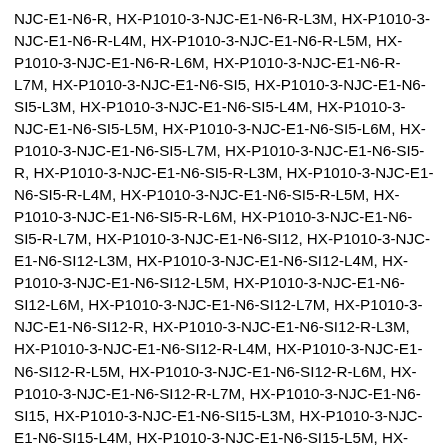NJC-E1-N6-R, HX-P1010-3-NJC-E1-N6-R-L3M, HX-P1010-3-NJC-E1-N6-R-L4M, HX-P1010-3-NJC-E1-N6-R-L5M, HX-P1010-3-NJC-E1-N6-R-L6M, HX-P1010-3-NJC-E1-N6-R-L7M, HX-P1010-3-NJC-E1-N6-SI5, HX-P1010-3-NJC-E1-N6-SI5-L3M, HX-P1010-3-NJC-E1-N6-SI5-L4M, HX-P1010-3-NJC-E1-N6-SI5-L5M, HX-P1010-3-NJC-E1-N6-SI5-L6M, HX-P1010-3-NJC-E1-N6-SI5-L7M, HX-P1010-3-NJC-E1-N6-SI5-R, HX-P1010-3-NJC-E1-N6-SI5-R-L3M, HX-P1010-3-NJC-E1-N6-SI5-R-L4M, HX-P1010-3-NJC-E1-N6-SI5-R-L5M, HX-P1010-3-NJC-E1-N6-SI5-R-L6M, HX-P1010-3-NJC-E1-N6-SI5-R-L7M, HX-P1010-3-NJC-E1-N6-SI12, HX-P1010-3-NJC-E1-N6-SI12-L3M, HX-P1010-3-NJC-E1-N6-SI12-L4M, HX-P1010-3-NJC-E1-N6-SI12-L5M, HX-P1010-3-NJC-E1-N6-SI12-L6M, HX-P1010-3-NJC-E1-N6-SI12-L7M, HX-P1010-3-NJC-E1-N6-SI12-R, HX-P1010-3-NJC-E1-N6-SI12-R-L3M, HX-P1010-3-NJC-E1-N6-SI12-R-L4M, HX-P1010-3-NJC-E1-N6-SI12-R-L5M, HX-P1010-3-NJC-E1-N6-SI12-R-L6M, HX-P1010-3-NJC-E1-N6-SI12-R-L7M, HX-P1010-3-NJC-E1-N6-SI15, HX-P1010-3-NJC-E1-N6-SI15-L3M, HX-P1010-3-NJC-E1-N6-SI15-L4M, HX-P1010-3-NJC-E1-N6-SI15-L5M, HX-P1010-3-NJC-E1-N6-SI15-L6M, HX-P1010-3-NJC-E1-N6-SI15-L7M, HX-P1010-3-NJC-E1-N6-SI15-R, HX-P1010-3-NJC-E1-N6-SI15-R-L3M, HX-P1010-3-NJC-E1-N6-SI15-R-L4M, HX-P1010-3-NJC-E1-N6-SI15-R-L5M, HX-P1010-3-NJC-E1-N6-SI15-R-L6M, HX-P1010-3-